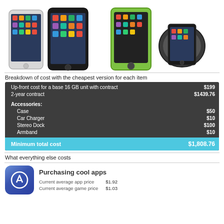[Figure (photo): Two iPhones side by side (white and black), plus a green protective case and a black armband accessory for iPhone 5]
Breakdown of cost with the cheapest version for each item
| Item | Cost |
| --- | --- |
| Up-front cost for a base 16 GB unit with contract | $199 |
| 2-year contract | $1439.76 |
| Accessories: |  |
| Case | $50 |
| Car Charger | $10 |
| Stereo Dock | $100 |
| Armband | $10 |
| Minimum total cost | $1,808.76 |
What everything else costs
[Figure (photo): App Store icon (blue with white rocket/arrow symbol)]
Purchasing cool apps
Current average app price $1.92
Current average game price $1.03